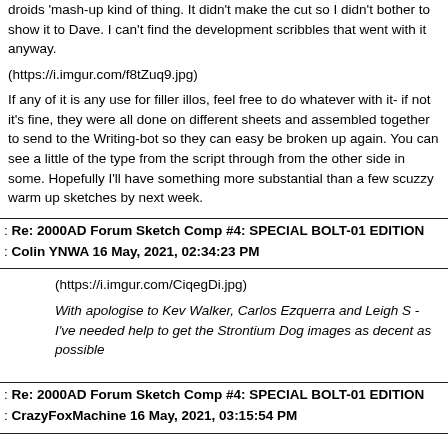droids 'mash-up kind of thing. It didn't make the cut so I didn't bother to show it to Dave. I can't find the development scribbles that went with it anyway.
(https://i.imgur.com/f8tZuq9.jpg)
If any of it is any use for filler illos, feel free to do whatever with it- if not it's fine, they were all done on different sheets and assembled together to send to the Writing-bot so they can easy be broken up again. You can see a little of the type from the script through from the other side in some. Hopefully I'll have something more substantial than a few scuzzy warm up sketches by next week.
: Re: 2000AD Forum Sketch Comp #4: SPECIAL BOLT-01 EDITION
: Colin YNWA 16 May, 2021, 02:34:23 PM
(https://i.imgur.com/CiqegDi.jpg)
With apologise to Kev Walker, Carlos Ezquerra and Leigh S - I've needed help to get the Strontium Dog images as decent as possible
: Re: 2000AD Forum Sketch Comp #4: SPECIAL BOLT-01 EDITION
: CrazyFoxMachine 16 May, 2021, 03:15:54 PM